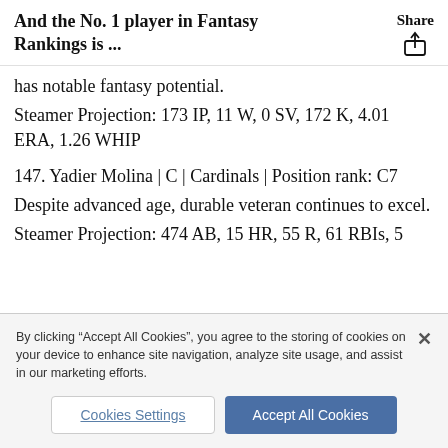And the No. 1 player in Fantasy Rankings is ...
has notable fantasy potential.
Steamer Projection: 173 IP, 11 W, 0 SV, 172 K, 4.01 ERA, 1.26 WHIP
147. Yadier Molina | C | Cardinals | Position rank: C7
Despite advanced age, durable veteran continues to excel.
Steamer Projection: 474 AB, 15 HR, 55 R, 61 RBIs, 5
By clicking “Accept All Cookies”, you agree to the storing of cookies on your device to enhance site navigation, analyze site usage, and assist in our marketing efforts.